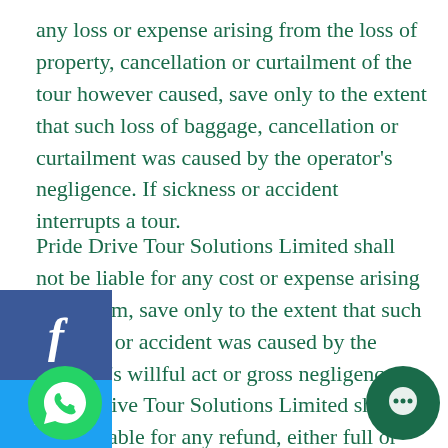any loss or expense arising from the loss of property, cancellation or curtailment of the tour however caused, save only to the extent that such loss of baggage, cancellation or curtailment was caused by the operator's negligence. If sickness or accident interrupts a tour.
Pride Drive Tour Solutions Limited shall not be liable for any cost or expense arising there from, save only to the extent that such sickness or accident was caused by the operator's willful act or gross negligence. Pride Drive Tour Solutions Limited shall not be liable for any refund, either full or partial, of passage money paid. Pride Drive Tour Solutions Limited recommends passengers to take out necessary insurance's to protect the passengers against such eventuality.